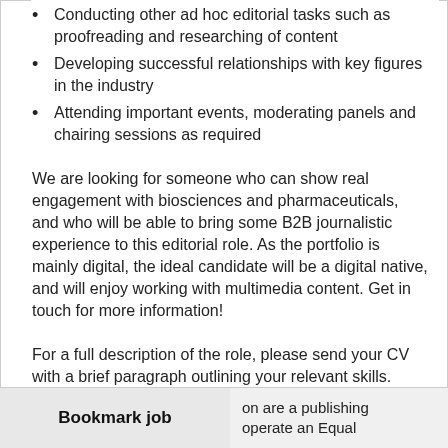Conducting other ad hoc editorial tasks such as proofreading and researching of content
Developing successful relationships with key figures in the industry
Attending important events, moderating panels and chairing sessions as required
We are looking for someone who can show real engagement with biosciences and pharmaceuticals, and who will be able to bring some B2B journalistic experience to this editorial role. As the portfolio is mainly digital, the ideal candidate will be a digital native, and will enjoy working with multimedia content. Get in touch for more information!
For a full description of the role, please send your CV with a brief paragraph outlining your relevant skills.
Closing Date: Early applications may be prioritised.
on are a publishing
operate an Equal